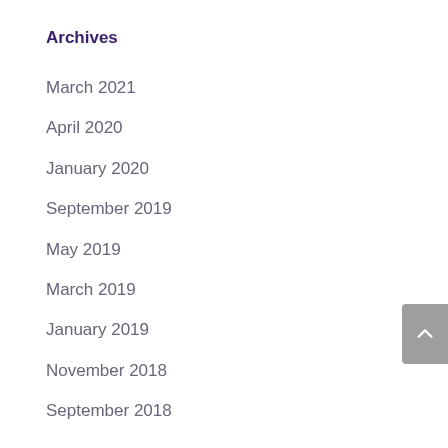Archives
March 2021
April 2020
January 2020
September 2019
May 2019
March 2019
January 2019
November 2018
September 2018